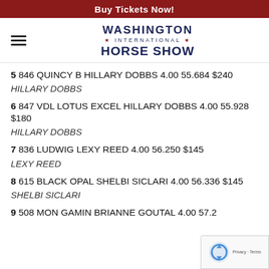Buy Tickets Now!
[Figure (logo): Washington International Horse Show logo with hamburger menu icon]
5 846 QUINCY B HILLARY DOBBS 4.00 55.684 $240
HILLARY DOBBS
6 847 VDL LOTUS EXCEL HILLARY DOBBS 4.00 55.928 $180
HILLARY DOBBS
7 836 LUDWIG LEXY REED 4.00 56.250 $145
LEXY REED
8 615 BLACK OPAL SHELBI SICLARI 4.00 56.336 $145
SHELBI SICLARI
9 508 MON GAMIN BRIANNE GOUTAL 4.00 57.215